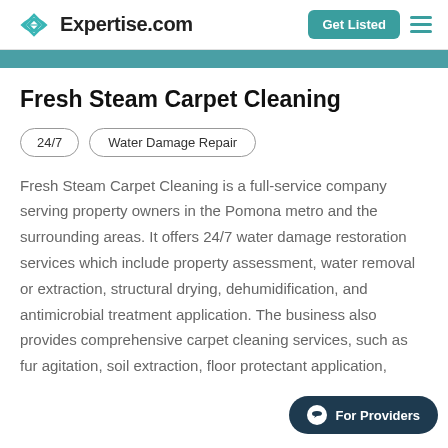Expertise.com | Get Listed
Fresh Steam Carpet Cleaning
24/7
Water Damage Repair
Fresh Steam Carpet Cleaning is a full-service company serving property owners in the Pomona metro and the surrounding areas. It offers 24/7 water damage restoration services which include property assessment, water removal or extraction, structural drying, dehumidification, and antimicrobial treatment application. The business also provides comprehensive carpet cleaning services, such as fur agitation, soil extraction, floor protectant application,